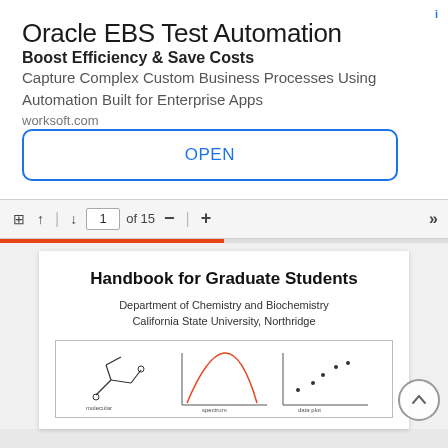Oracle EBS Test Automation
Boost Efficiency & Save Costs
Capture Complex Custom Business Processes Using Automation Built for Enterprise Apps
worksoft.com
OPEN
[Figure (screenshot): PDF viewer toolbar showing page 1 of 15 with navigation icons, zoom controls, and an orange progress bar below]
Handbook for Graduate Students
Department of Chemistry and Biochemistry
California State University, Northridge
[Figure (screenshot): Partial view of chemistry figures at the bottom of the document page preview]